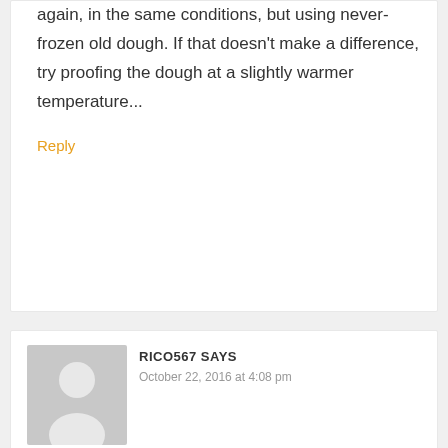again, in the same conditions, but using never-frozen old dough. If that doesn't make a difference, try proofing the dough at a slightly warmer temperature...
Reply
RICO567 SAYS
October 22, 2016 at 4:08 pm